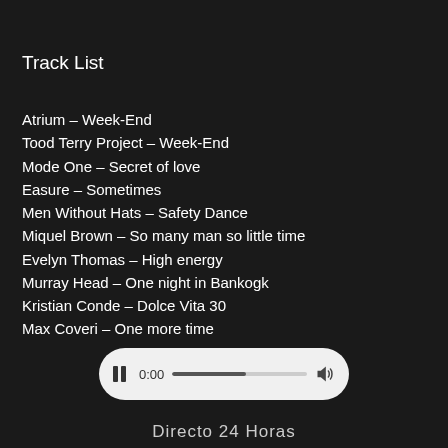Track List
Atrium – Week-End
Tood Terry Project – Week-End
Mode One – Secret of love
Easure – Sometimes
Men Without Hats – Safety Dance
Miquel Brown – So many man so little time
Evelyn Thomas – High energy
Murray Head – One night in Bankogk
Kristian Conde – Dolce Vita 30
Max Coveri – One more time
[Figure (screenshot): Audio player bar showing pause button, timestamp 0:00, progress bar, and volume icon on a light grey rounded rectangle background]
Directo 24 Horas